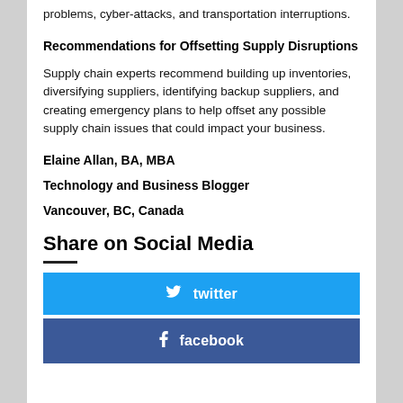problems, cyber-attacks, and transportation interruptions.
Recommendations for Offsetting Supply Disruptions
Supply chain experts recommend building up inventories, diversifying suppliers, identifying backup suppliers, and creating emergency plans to help offset any possible supply chain issues that could impact your business.
Elaine Allan, BA, MBA
Technology and Business Blogger
Vancouver, BC, Canada
Share on Social Media
[Figure (infographic): Twitter share button (blue) and Facebook share button (dark blue) for social media sharing.]